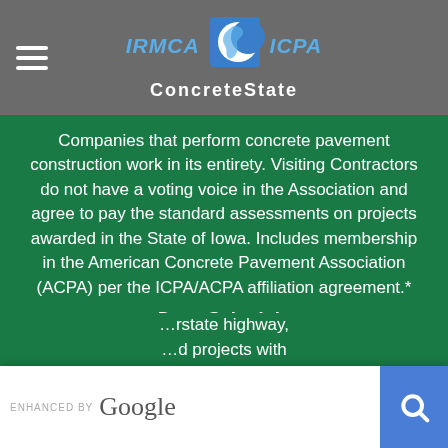[Figure (logo): IRMCA / ICPA ConcreteState logo with moon/state silhouette graphic, on gray header bar with hamburger menu icon]
Companies that perform concrete pavement construction work in its entirety. Visiting Contractors do not have a voting voice in the Association and agree to pay the standard assessments on projects awarded in the State of Iowa. Includes membership in the American Concrete Pavement Association (ACPA) per the ICPA/ACPA affiliation agreement.*
Dues Schedule
$400 annually plus assessments.
Assessments are $2.55/$1,000 of concrete related contract items, plus a special assessment of $0.10/sq. yd.
...interstate highway, ...projects with ...of $0,000...